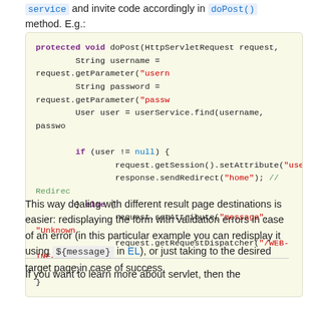service and invite code accordingly in doPost() method. E.g.:
[Figure (screenshot): Java code snippet showing a doPost method with HttpServletRequest, getParameter calls for username and password, userService.find(), session setAttribute for 'user', sendRedirect to 'home', else block setting 'message' attribute and getRequestDispatcher to /WEB-INF/lo]
This way dealing with different result page destinations is easier: redisplaying the form with validation errors in case of an error (in this particular example you can redisplay it using ${message} in EL), or just taking to the desired target page in case of success.
If you want to learn more about servlet, then the...